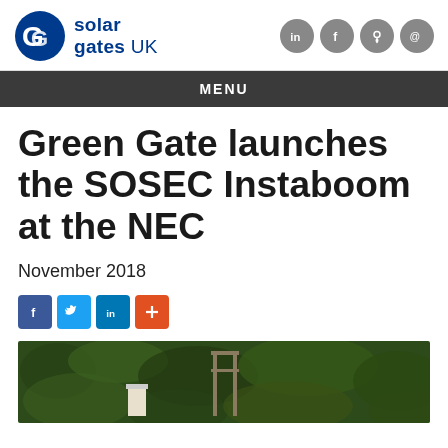[Figure (logo): Solar Gates UK logo with stylized G icon in blue and company name text]
[Figure (infographic): Header social media icons: LinkedIn, Facebook, location pin, email — grey circles]
MENU
Green Gate launches the SOSEC Instaboom at the NEC
November 2018
[Figure (infographic): Social share buttons: Facebook (blue), Twitter (light blue), LinkedIn (blue), Plus (orange-red)]
[Figure (photo): Outdoor photo showing green foliage/hedge with a gate structure visible against the vegetation]